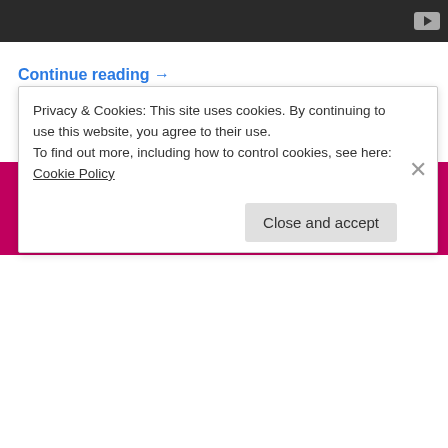[Figure (screenshot): Dark video bar with YouTube play button icon in top right corner]
Continue reading →
January 31, 2010
1 Reply
View Full Site
Create a free website or blog at WordPress.com.
Privacy & Cookies: This site uses cookies. By continuing to use this website, you agree to their use. To find out more, including how to control cookies, see here: Cookie Policy
Close and accept